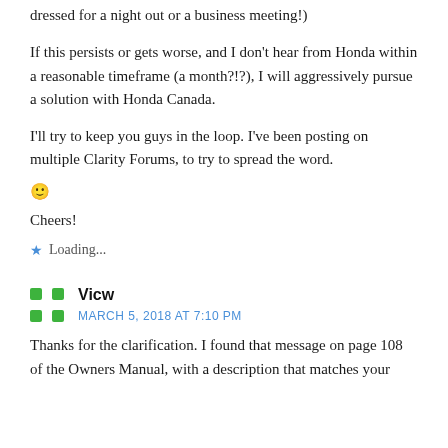dressed for a night out or a business meeting!)
If this persists or gets worse, and I don't hear from Honda within a reasonable timeframe (a month?!?), I will aggressively pursue a solution with Honda Canada.
I'll try to keep you guys in the loop. I've been posting on multiple Clarity Forums, to try to spread the word.
🙂
Cheers!
⭐ Loading...
Vicw
MARCH 5, 2018 AT 7:10 PM
Thanks for the clarification. I found that message on page 108 of the Owners Manual, with a description that matches your